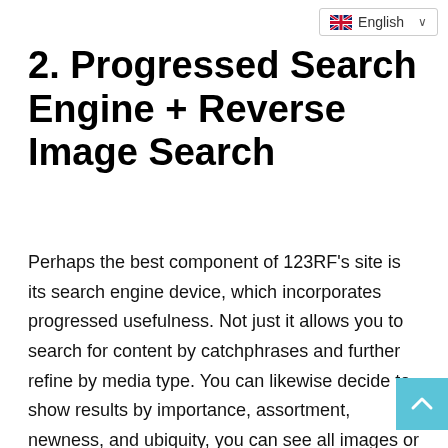English
2. Progressed Search Engine + Reverse Image Search
Perhaps the best component of 123RF's site is its search engine device, which incorporates progressed usefulness. Not just it allows you to search for content by catchphrases and further refine by media type. You can likewise decide to show results by importance, assortment, newness, and ubiquity, you can see all images or select photographs or vector delineations and filter by image direction. Much more, you have a progression of cutting edge filters that you can use to track down outcomes by assortment (counting EVO), as indicated by when they were added, the quantity of individuals portrayed, and there's even a color filter.